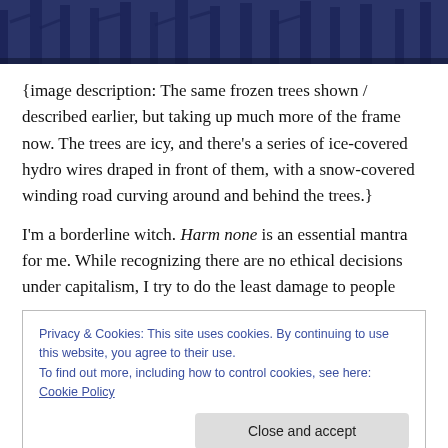[Figure (photo): A winter scene showing frozen trees with ice-covered hydro wires and a snow-covered winding road, with a blue-tinted photographic treatment. Only the top portion of the image is visible.]
{image description: The same frozen trees shown / described earlier, but taking up much more of the frame now. The trees are icy, and there’s a series of ice-covered hydro wires draped in front of them, with a snow-covered winding road curving around and behind the trees.}
I’m a borderline witch. Harm none is an essential mantra for me. While recognizing there are no ethical decisions under capitalism, I try to do the least damage to people
Privacy & Cookies: This site uses cookies. By continuing to use this website, you agree to their use.
To find out more, including how to control cookies, see here: Cookie Policy
Close and accept
to do so. I know it’s part of my purpose